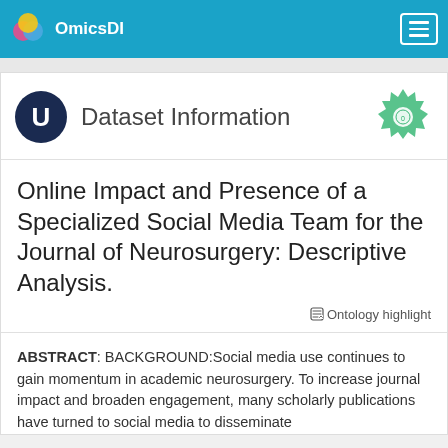OmicsDI
Dataset Information
Online Impact and Presence of a Specialized Social Media Team for the Journal of Neurosurgery: Descriptive Analysis.
Ontology highlight
ABSTRACT: BACKGROUND:Social media use continues to gain momentum in academic neurosurgery. To increase journal impact and broaden engagement, many scholarly publications have turned to social media to disseminate